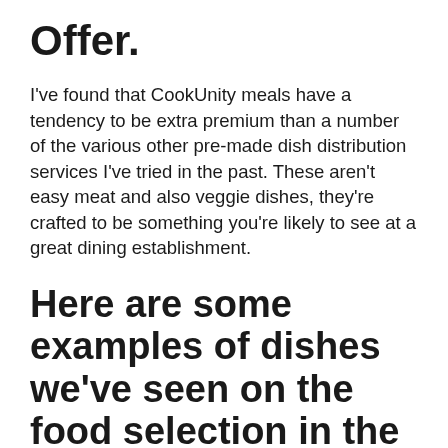Offer.
I've found that CookUnity meals have a tendency to be extra premium than a number of the various other pre-made dish distribution services I've tried in the past. These aren't easy meat and also veggie dishes, they're crafted to be something you're likely to see at a great dining establishment.
Here are some examples of dishes we've seen on the food selection in the past to offer you a concept of what you can